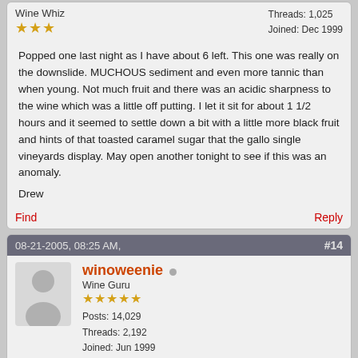Wine Whiz
Threads: 1,025
Joined: Dec 1999
Popped one last night as I have about 6 left. This one was really on the downslide. MUCHOUS sediment and even more tannic than when young. Not much fruit and there was an acidic sharpness to the wine which was a little off putting. I let it sit for about 1 1/2 hours and it seemed to settle down a bit with a little more black fruit and hints of that toasted caramel sugar that the gallo single vineyards display. May open another tonight to see if this was an anomaly.
Drew
Find
Reply
08-21-2005, 08:25 AM,
#14
winoweenie
Wine Guru
Posts: 14,029
Threads: 2,192
Joined: Jun 1999
I'll crack one too Drewski. WW
Find
Reply